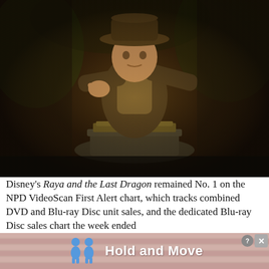[Figure (photo): Movie still showing a man in an explorer hat and jacket reaching forward toward a round artifact on a stone pedestal, in a dark jungle/cave setting. This appears to be from an Indiana Jones film.]
Disney's Raya and the Last Dragon remained No. 1 on the NPD VideoScan First Alert chart, which tracks combined DVD and Blu-ray Disc unit sales, and the dedicated Blu-ray Disc sales chart the week ended
[Figure (infographic): Advertisement banner with salmon/dusty pink striped background showing two blue human figure icons and the text 'Hold and Move' in white bold font. Has a close/X button and question mark button in the top right corner.]